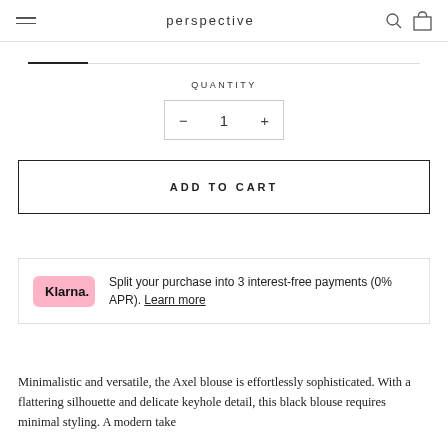perspective
QUANTITY
— 1 +
ADD TO CART
Split your purchase into 3 interest-free payments (0% APR). Learn more
Minimalistic and versatile, the Axel blouse is effortlessly sophisticated. With a flattering silhouette and delicate keyhole detail, this black blouse requires minimal styling. A modern take